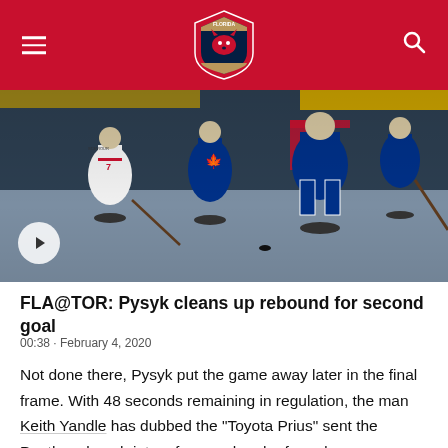Florida Panthers navigation header
[Figure (photo): Hockey game photo showing Florida Panthers vs Toronto Maple Leafs players battling near the goal crease. A number 7 Panthers player (Sceviour) is visible along with Maple Leafs players in blue. A video play button overlay is in the lower left.]
FLA@TOR: Pysyk cleans up rebound for second goal
00:38 · February 4, 2020
Not done there, Pysyk put the game away later in the final frame. With 48 seconds remaining in regulation, the man Keith Yandle has dubbed the "Toyota Prius" sent the Panthers bench into a frenzy when he forced a